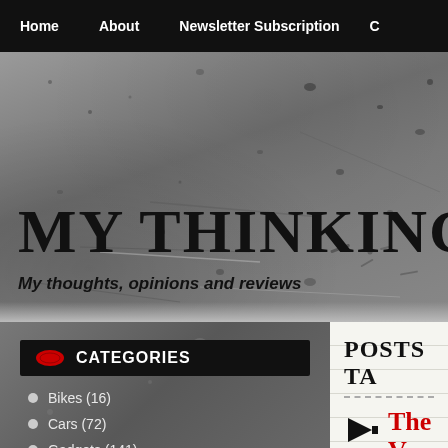Home | About | Newsletter Subscription | C...
MY THINKING TRE...
My thoughts, opinions and reviews
CATEGORIES
Bikes (16)
Cars (72)
Gadgets (141)
POSTS TA...
The V...
Posted: 16th O...
Tags: amber, ... preening, pre...